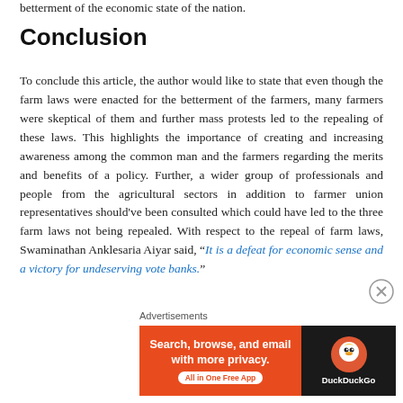betterment of the economic state of the nation.
Conclusion
To conclude this article, the author would like to state that even though the farm laws were enacted for the betterment of the farmers, many farmers were skeptical of them and further mass protests led to the repealing of these laws. This highlights the importance of creating and increasing awareness among the common man and the farmers regarding the merits and benefits of a policy. Further, a wider group of professionals and people from the agricultural sectors in addition to farmer union representatives should've been consulted which could have led to the three farm laws not being repealed. With respect to the repeal of farm laws, Swaminathan Anklesaria Aiyar said, “It is a defeat for economic sense and a victory for undeserving vote banks.”
Advertisements
[Figure (other): DuckDuckGo advertisement banner with orange left panel reading 'Search, browse, and email with more privacy. All in One Free App' and dark right panel with DuckDuckGo logo and name.]